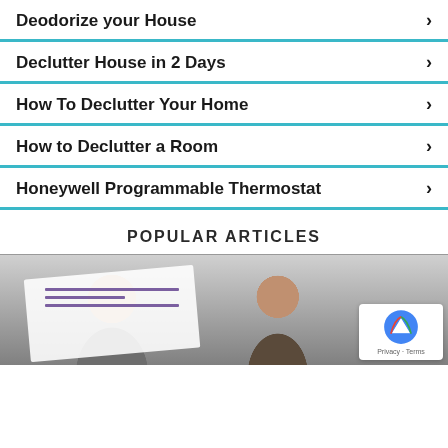Deodorize your House
Declutter House in 2 Days
How To Declutter Your Home
How to Declutter a Room
Honeywell Programmable Thermostat
POPULAR ARTICLES
[Figure (photo): Two people (a man and a woman) in background, with a paper document held up in the foreground. A reCAPTCHA badge is visible in the bottom right corner.]